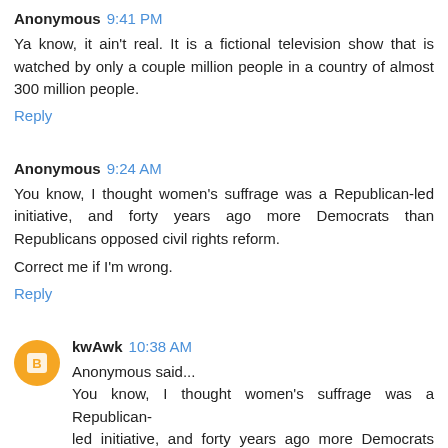Anonymous 9:41 PM
Ya know, it ain't real. It is a fictional television show that is watched by only a couple million people in a country of almost 300 million people.
Reply
Anonymous 9:24 AM
You know, I thought women's suffrage was a Republican-led initiative, and forty years ago more Democrats than Republicans opposed civil rights reform.
Correct me if I'm wrong.
Reply
kwAwk 10:38 AM
Anonymous said...
You know, I thought women's suffrage was a Republican-led initiative, and forty years ago more Democrats than